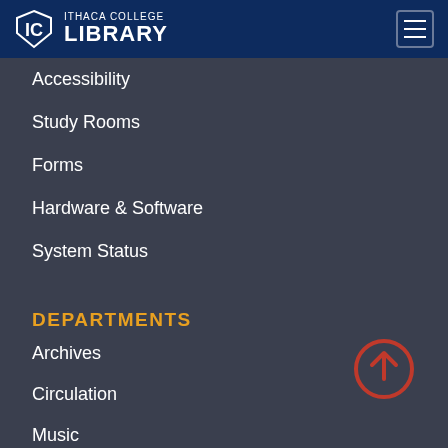[Figure (logo): Ithaca College Library logo with shield icon and text]
Accessibility
Study Rooms
Forms
Hardware & Software
System Status
DEPARTMENTS
Archives
Circulation
Music
Research Services
[Figure (illustration): Red circular upward arrow icon (scroll-to-top button)]